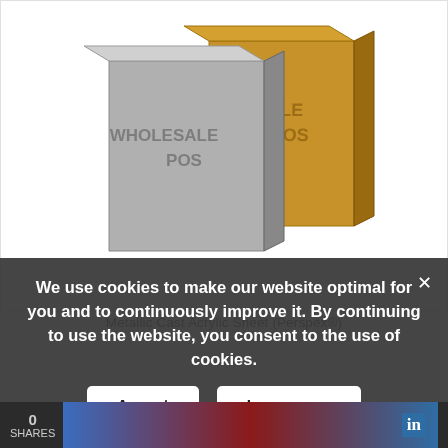[Figure (photo): Two metallic cast acrylic sheets (Perspex) shown at an angle. The front sheet is silver/grey and the back sheet is gold/amber colored. Both have 'WHOLESALE POS' text embossed on them.]
Metallic Cast Acrylic Sheet (Perspex®)
We use cookies to make our website optimal for you and to continuously improve it. By continuing to use the website, you consent to the use of cookies.
Accept
Learn more